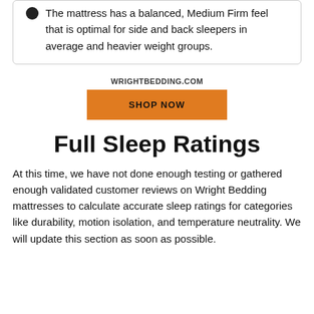The mattress has a balanced, Medium Firm feel that is optimal for side and back sleepers in average and heavier weight groups.
WRIGHTBEDDING.COM
[Figure (other): Orange 'SHOP NOW' button linking to wrightbedding.com]
Full Sleep Ratings
At this time, we have not done enough testing or gathered enough validated customer reviews on Wright Bedding mattresses to calculate accurate sleep ratings for categories like durability, motion isolation, and temperature neutrality. We will update this section as soon as possible.